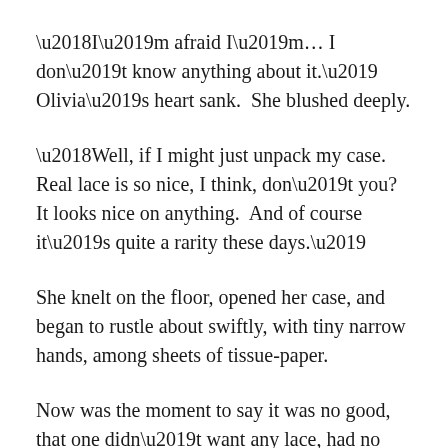‘I’m afraid I’m… I don’t know anything about it.’ Olivia’s heart sank.  She blushed deeply.
‘Well, if I might just unpack my case.  Real lace is so nice, I think, don’t you?  It looks nice on anything.  And of course it’s quite a rarity these days.’
She knelt on the floor, opened her case, and began to rustle about swiftly, with tiny narrow hands, among sheets of tissue-paper.
Now was the moment to say it was no good, that one didn’t want any lace, had no money with which to buy it.  Oh, cruel fate! Any other day that would have been true.  To-day Uncle Oswald’s ten-shilling note seemed